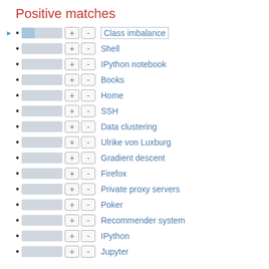Positive matches
Class imbalance
Shell
IPython notebook
Books
Home
SSH
Data clustering
Ulrike von Luxburg
Gradient descent
Firefox
Private proxy servers
Poker
Recommender system
IPython
Jupyter